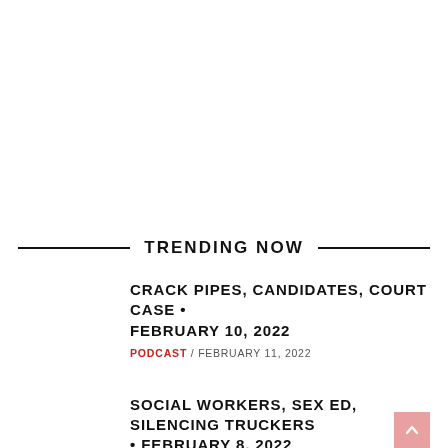TRENDING NOW
CRACK PIPES, CANDIDATES, COURT CASE • FEBRUARY 10, 2022
PODCAST / FEBRUARY 11, 2022
SOCIAL WORKERS, SEX ED, SILENCING TRUCKERS • FEBRUARY 8, 2022